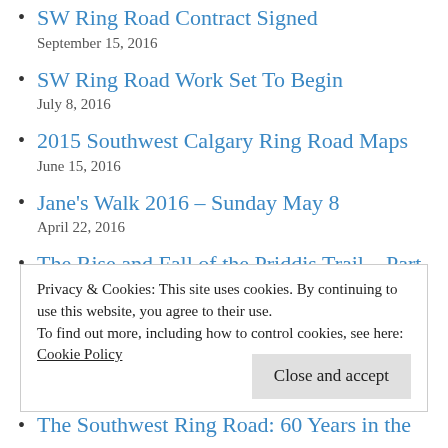SW Ring Road Contract Signed
September 15, 2016
SW Ring Road Work Set To Begin
July 8, 2016
2015 Southwest Calgary Ring Road Maps
June 15, 2016
Jane's Walk 2016 – Sunday May 8
April 22, 2016
The Rise and Fall of the Priddis Trail – Part 2: A Road In Use
April 13, 2016
Privacy & Cookies: This site uses cookies. By continuing to use this website, you agree to their use.
To find out more, including how to control cookies, see here:
Cookie Policy
Close and accept
The Southwest Ring Road: 60 Years in the…